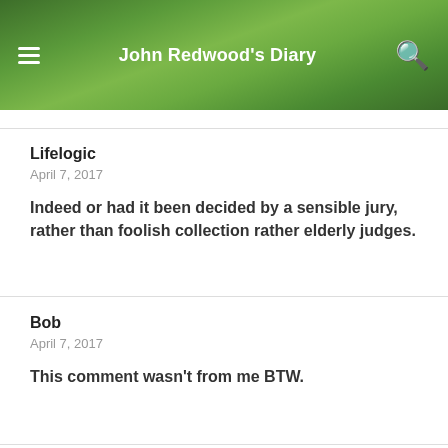John Redwood's Diary
Lifelogic
April 7, 2017
Indeed or had it been decided by a sensible jury, rather than foolish collection rather elderly judges.
Bob
April 7, 2017
This comment wasn't from me BTW.